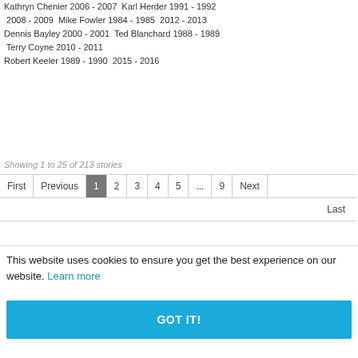Kathryn Chenier 2006 - 2007  Karl Herder 1991 - 1992  2008 - 2009  Mike Fowler 1984 - 1985  2012 - 2013  Dennis Bayley 2000 - 2001  Ted Blanchard 1988 - 1989  Terry Coyne 2010 - 2011  Robert Keeler 1989 - 1990  2015 - 2016
Showing 1 to 25 of 213 stories
First | Previous | 1 | 2 | 3 | 4 | 5 | ... | 9 | Next | Last
This website uses cookies to ensure you get the best experience on our website. Learn more
GOT IT!